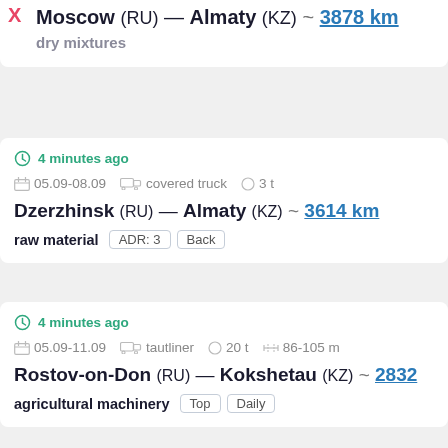Moscow (RU) — Almaty (KZ) ~ 3878 km
dry mixtures
4 minutes ago
05.09-08.09   covered truck   3 t
Dzerzhinsk (RU) — Almaty (KZ) ~ 3614 km
raw material  ADR: 3  Back
4 minutes ago
05.09-11.09   tautliner   20 t   86-105 m
Rostov-on-Don (RU) — Kokshetau (KZ) ~ 2832
agricultural machinery  Top  Daily